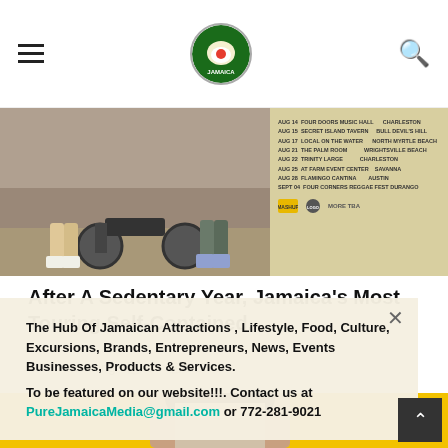Pure Jamaica Media — navigation header with hamburger menu, circular logo, and search icon
[Figure (photo): Left: two people standing near a motorcycle on a street. Right: event schedule listing dates and venues.]
After A Sedentary Year, Jamaica's Most Touring Self-Contained...
MPRconsulting  0  127
[Figure (photo): Woman with dark hair against yellow background, partially visible.]
The Hub Of Jamaican Attractions , Lifestyle, Food, Culture, Excursions, Brands, Entrepreneurs, News, Events Businesses, Products & Services.
To be featured on our website!!!. Contact us at PureJamaicaMedia@gmail.com or 772-281-9021